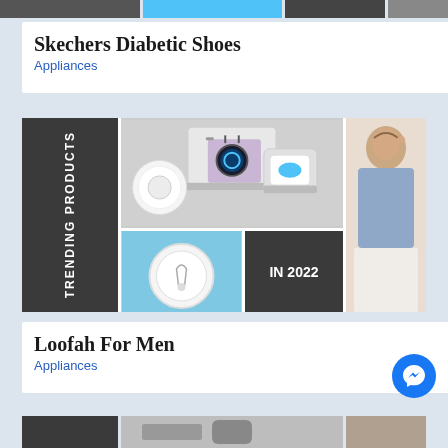[Figure (photo): Top strip of product images partially visible]
Skechers Diabetic Shoes
Appliances
[Figure (infographic): Trending Products In 2022 collage with dark panel on left reading TRENDING PRODUCTS vertically, center shows smartwatch and wireless charger/AirPods, bottom right dark panel reads IN 2022, right panel shows woman in sweater]
Loofah For Men
Appliances
[Figure (photo): Messenger chat button (blue circle with lightning bolt icon)]
[Figure (photo): Bottom strip of product images partially visible]